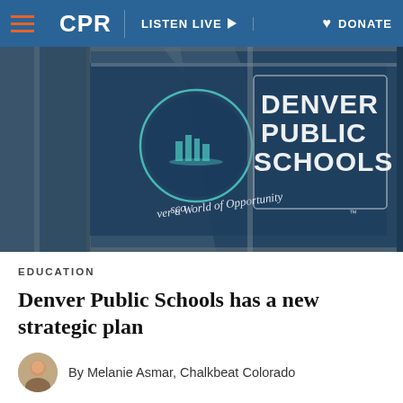CPR   LISTEN LIVE   DONATE
[Figure (photo): Denver Public Schools building exterior with glass window signage reading 'Denver Public Schools – Discover a World of Opportunity™' and the DPS logo circle]
EDUCATION
Denver Public Schools has a new strategic plan
By Melanie Asmar, Chalkbeat Colorado